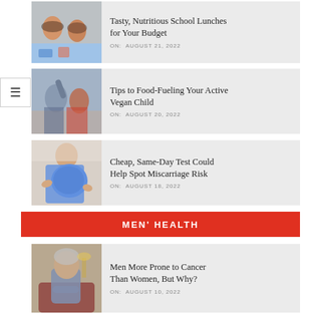[Figure (photo): Two children smiling at school lunch table]
Tasty, Nutritious School Lunches for Your Budget
ON:  AUGUST 21, 2022
[Figure (photo): Excited children celebrating]
Tips to Food-Fueling Your Active Vegan Child
ON:  AUGUST 20, 2022
[Figure (photo): Pregnant woman holding belly]
Cheap, Same-Day Test Could Help Spot Miscarriage Risk
ON:  AUGUST 18, 2022
MEN' HEALTH
[Figure (photo): Older man seated in chair]
Men More Prone to Cancer Than Women, But Why?
ON:  AUGUST 10, 2022